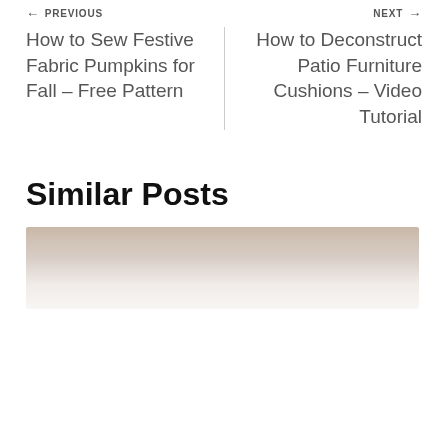← PREVIOUS   NEXT →
How to Sew Festive Fabric Pumpkins for Fall – Free Pattern
How to Deconstruct Patio Furniture Cushions – Video Tutorial
Similar Posts
[Figure (photo): Partial image at bottom of page showing beige/tan and white tones, likely a craft or home decor photo]